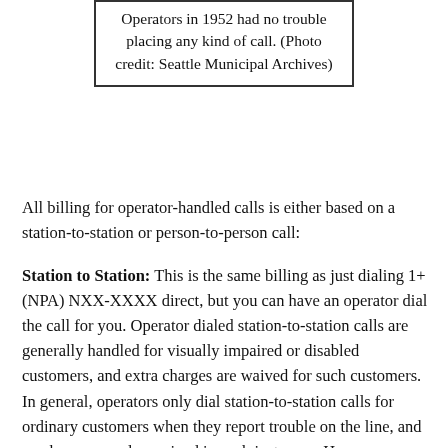Operators in 1952 had no trouble placing any kind of call. (Photo credit: Seattle Municipal Archives)
All billing for operator-handled calls is either based on a station-to-station or person-to-person call:
Station to Station: This is the same billing as just dialing 1+(NPA) NXX-XXXX direct, but you can have an operator dial the call for you. Operator dialed station-to-station calls are generally handled for visually impaired or disabled customers, and extra charges are waived for such customers. In general, operators only dial station-to-station calls for ordinary customers when they report trouble on the line, and surcharges are also waived in such instances. However, station-to-station rates can also apply to